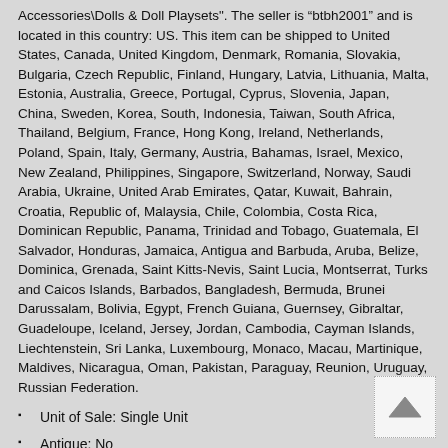Accessories\Dolls & Doll Playsets". The seller is “btbh2001” and is located in this country: US. This item can be shipped to United States, Canada, United Kingdom, Denmark, Romania, Slovakia, Bulgaria, Czech Republic, Finland, Hungary, Latvia, Lithuania, Malta, Estonia, Australia, Greece, Portugal, Cyprus, Slovenia, Japan, China, Sweden, Korea, South, Indonesia, Taiwan, South Africa, Thailand, Belgium, France, Hong Kong, Ireland, Netherlands, Poland, Spain, Italy, Germany, Austria, Bahamas, Israel, Mexico, New Zealand, Philippines, Singapore, Switzerland, Norway, Saudi Arabia, Ukraine, United Arab Emirates, Qatar, Kuwait, Bahrain, Croatia, Republic of, Malaysia, Chile, Colombia, Costa Rica, Dominican Republic, Panama, Trinidad and Tobago, Guatemala, El Salvador, Honduras, Jamaica, Antigua and Barbuda, Aruba, Belize, Dominica, Grenada, Saint Kitts-Nevis, Saint Lucia, Montserrat, Turks and Caicos Islands, Barbados, Bangladesh, Bermuda, Brunei Darussalam, Bolivia, Egypt, French Guiana, Guernsey, Gibraltar, Guadeloupe, Iceland, Jersey, Jordan, Cambodia, Cayman Islands, Liechtenstein, Sri Lanka, Luxembourg, Monaco, Macau, Martinique, Maldives, Nicaragua, Oman, Pakistan, Paraguay, Reunion, Uruguay, Russian Federation.
Unit of Sale: Single Unit
Antique: No
Doll Hair Color: Varies
Doll Hair Type: Varies
Number of Pieces: 1
Occasion: All Occasions